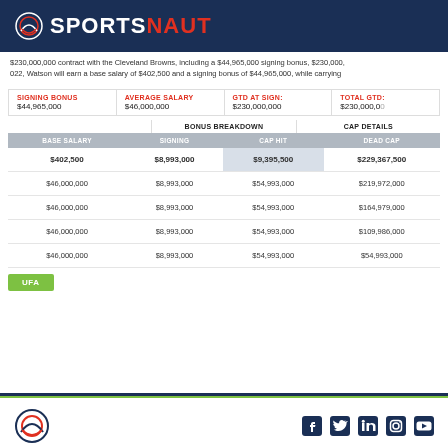SPORTSNAUT
$230,000,000 contract with the Cleveland Browns, including a $44,965,000 signing bonus, $230,000,022, Watson will earn a base salary of $402,500 and a signing bonus of $44,965,000, while carrying
| SIGNING BONUS | AVERAGE SALARY | GTD AT SIGN: | TOTAL GTD: |
| --- | --- | --- | --- |
| $44,965,000 | $46,000,000 | $230,000,000 | $230,000,0... |
| BASE SALARY | SIGNING | CAP HIT | DEAD CAP |
| --- | --- | --- | --- |
| $402,500 | $8,993,000 | $9,395,500 | $229,367,500 |
| $46,000,000 | $8,993,000 | $54,993,000 | $219,972,000 |
| $46,000,000 | $8,993,000 | $54,993,000 | $164,979,000 |
| $46,000,000 | $8,993,000 | $54,993,000 | $109,986,000 |
| $46,000,000 | $8,993,000 | $54,993,000 | $54,993,000 |
UFA
SPORTSNAUT social icons